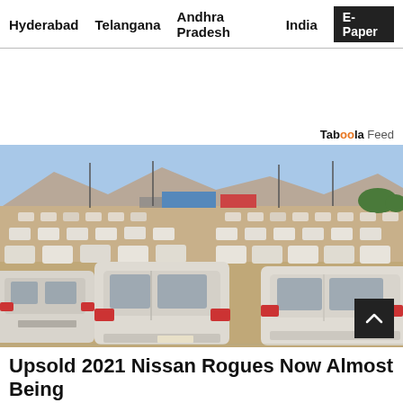Hyderabad  Telangana  Andhra Pradesh  India  E-Paper
[Figure (photo): Large outdoor lot filled with rows of white cars (unsold Nissan Rogues), dusty desert setting, mountains and blue sky in background, industrial buildings visible]
Upsold 2021 Nissan Rogues Now Almost Being